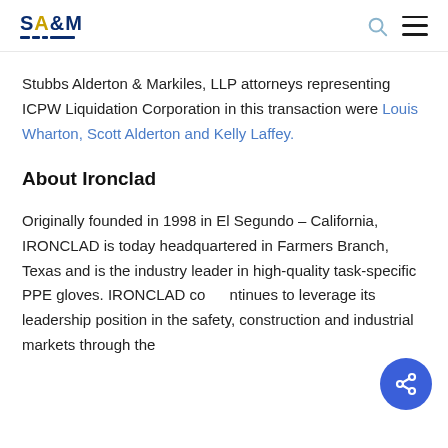SAM (Stubbs Alderton & Markiles) logo with search and menu icons
Stubbs Alderton & Markiles, LLP attorneys representing ICPW Liquidation Corporation in this transaction were Louis Wharton, Scott Alderton and Kelly Laffey.
About Ironclad
Originally founded in 1998 in El Segundo – California, IRONCLAD is today headquartered in Farmers Branch, Texas and is the industry leader in high-quality task-specific PPE gloves. IRONCLAD continues to leverage its leadership position in the safety, construction and industrial markets through the